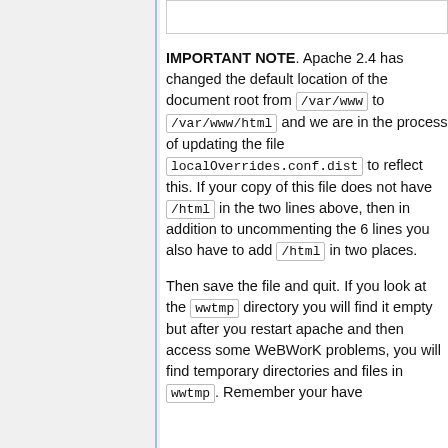IMPORTANT NOTE. Apache 2.4 has changed the default location of the document root from /var/www to /var/www/html and we are in the process of updating the file localOverrides.conf.dist to reflect this. If your copy of this file does not have /html in the two lines above, then in addition to uncommenting the 6 lines you also have to add /html in two places.
Then save the file and quit. If you look at the wwtmp directory you will find it empty but after you restart apache and then access some WeBWorK problems, you will find temporary directories and files in wwtmp. Remember your have